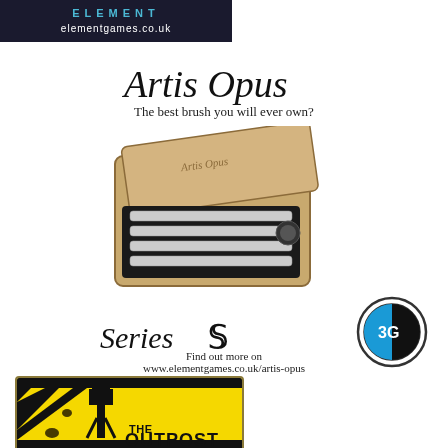[Figure (logo): Element Games dark banner with cyan ELEMENT text and elementgames.co.uk URL in white]
Artis Opus
The best brush you will ever own?
[Figure (photo): Artis Opus Series S brushes in a wooden presentation box]
[Figure (logo): Series S logo with cursive Series text and double-S monogram]
[Figure (logo): 3G circular logo with blue and black design]
Find out more on
www.elementgames.co.uk/artis-opus
[Figure (logo): The Outpost logo on yellow warning-sign style background with watchtower silhouette]